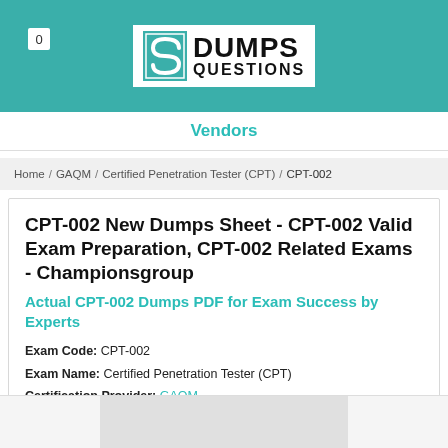0 | Dumps Questions (logo)
Vendors
Home / GAQM / Certified Penetration Tester (CPT) / CPT-002
CPT-002 New Dumps Sheet - CPT-002 Valid Exam Preparation, CPT-002 Related Exams - Championsgroup
Actual CPT-002 Dumps PDF for Exam Success by Experts
Exam Code: CPT-002
Exam Name: Certified Penetration Tester (CPT)
Certification Provider: GAQM
Related Certification: Certified Penetration Tester (CPT).
[Figure (photo): Exam dumps product image at bottom of page]